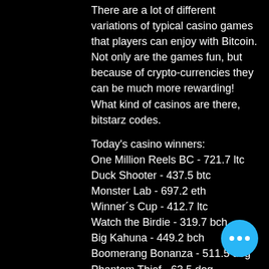There are a lot of different variations of typical casino games that players can enjoy with Bitcoin. Not only are the games fun, but because of crypto-currencies they can be much more rewarding! What kind of casinos are there, bitstarz codes.
Today's casino winners:
One Million Reels BC - 721.7 ltc
Duck Shooter - 437.5 btc
Monster Lab - 697.2 eth
Winner´s Cup - 412.7 ltc
Watch the Birdie - 319.7 bch
Big Kahuna - 449.2 bch
Boomerang Bonanza - 511.5 dog
Phantom Thief - 63.5 dog
Roman Empire - 365.7 usdt
Sam on the Beach - 183.6 dog
Royal Reels - 510.9 dog
Royal Frog - 350 ltc
Witch Pickings - 643.6 bch
Doubles - 151.9 bch